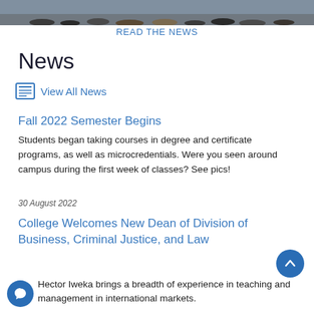[Figure (photo): Cropped photo showing feet and legs of a group of people standing together on a gray floor]
READ THE NEWS
News
View All News
Fall 2022 Semester Begins
Students began taking courses in degree and certificate programs, as well as microcredentials. Were you seen around campus during the first week of classes? See pics!
30 August 2022
College Welcomes New Dean of Division of Business, Criminal Justice, and Law
Hector Iweka brings a breadth of experience in teaching and management in international markets.